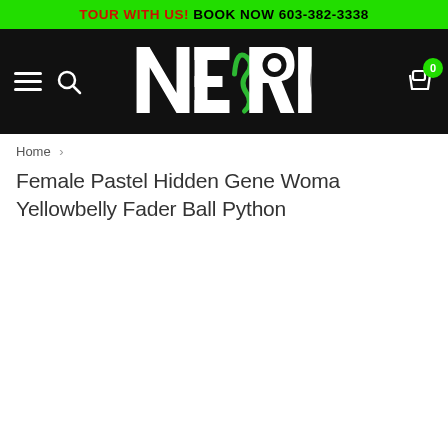TOUR WITH US! BOOK NOW 603-382-3338
[Figure (logo): NERD logo in white on black background with green snake graphic, hamburger menu and search icon on left, shopping cart with badge '0' on right]
Home >
Female Pastel Hidden Gene Woma Yellowbelly Fader Ball Python